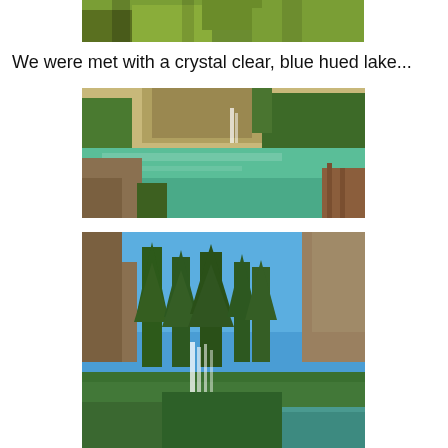[Figure (photo): Top partial photo showing green grassy hillside with vegetation and shadows]
We were met with a crystal clear, blue hued lake...
[Figure (photo): Photo of a crystal clear blue-green lake with rocky cliffs, trees, and a waterfall in the background; wooden railing visible at right edge]
[Figure (photo): Photo of tall pine trees and rocky cliffs against a bright blue sky, with a small waterfall and lake in the foreground]